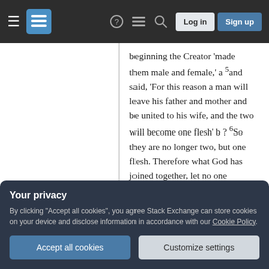Stack Exchange navigation bar with hamburger menu, logo, help, chat, search icons, Log in and Sign up buttons
beginning the Creator ‘made them male and female,’ a 5and said, ‘For this reason a man will leave his father and mother and be united to his wife, and the two will become one flesh’ b ? 6So they are no longer two, but one flesh. Therefore what God has joined together, let no one separate.”
7“Why then,” they asked, “did Moses command that a man give his wife a certificate of divorce and send her away?”
Your privacy
By clicking “Accept all cookies”, you agree Stack Exchange can store cookies on your device and disclose information in accordance with our Cookie Policy.
Accept all cookies   Customize settings
marries another woman commits adultery.